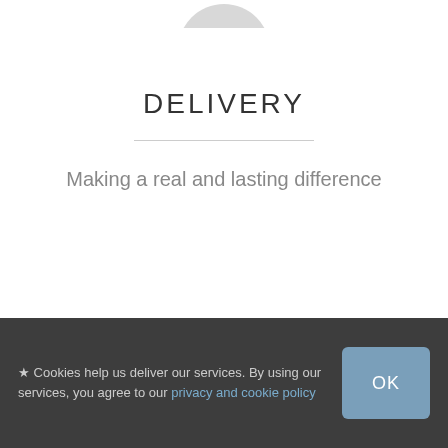[Figure (illustration): Partial circular icon or avatar visible at the top center, cropped at the top edge of the page]
DELIVERY
Making a real and lasting difference
★ Cookies help us deliver our services. By using our services, you agree to our privacy and cookie policy